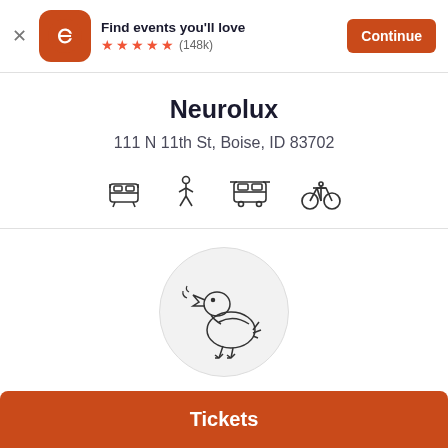Find events you'll love ★★★★★ (148k) Continue
Neurolux
111 N 11th St, Boise, ID 83702
[Figure (illustration): Transport mode icons: bus/train, walking person, tram/bus, bicycle]
[Figure (illustration): Duck logo inside a light gray circle]
$14
Tickets